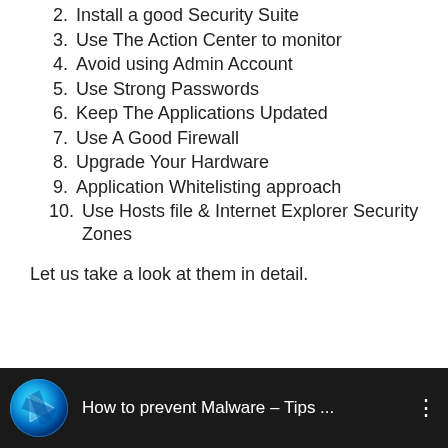2. Install a good Security Suite
3. Use The Action Center to monitor
4. Avoid using Admin Account
5. Use Strong Passwords
6. Keep The Applications Updated
7. Use A Good Firewall
8. Upgrade Your Hardware
9. Application Whitelisting approach
10. Use Hosts file & Internet Explorer Security Zones
Let us take a look at them in detail.
[Figure (screenshot): Video thumbnail bar with blue circular icon and white text 'How to prevent Malware – Tips ...' on dark background with three-dot menu icon]